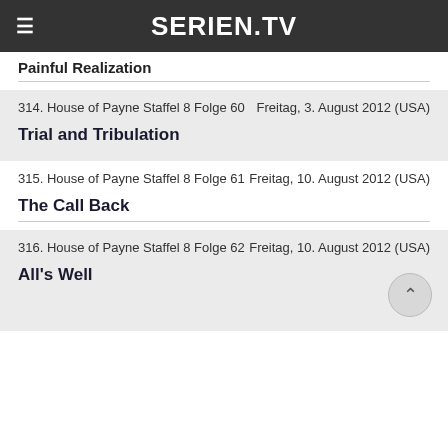SERIEN.TV
Painful Realization
314. House of Payne Staffel 8 Folge 60    Freitag, 3. August 2012 (USA)
Trial and Tribulation
315. House of Payne Staffel 8 Folge 61    Freitag, 10. August 2012 (USA)
The Call Back
316. House of Payne Staffel 8 Folge 62    Freitag, 10. August 2012 (USA)
All's Well